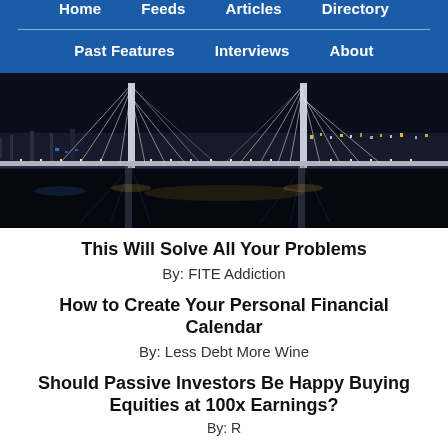Home  Feeds  Articles  Directory  Past Features  Interviews  About
[Figure (photo): Night photo of a cable-stayed bridge reflected in water with city lights in the background]
This Will Solve All Your Problems
By: FITE Addiction
How to Create Your Personal Financial Calendar
By: Less Debt More Wine
Should Passive Investors Be Happy Buying Equities at 100x Earnings?
By: [partially visible]